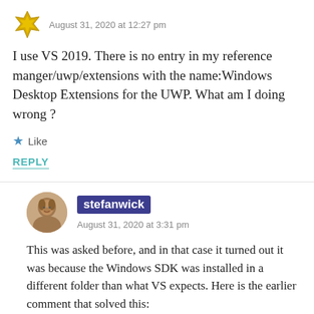August 31, 2020 at 12:27 pm
I use VS 2019. There is no entry in my reference manger/uwp/extensions with the name:Windows Desktop Extensions for the UWP. What am I doing wrong ?
Like
REPLY
stefanwick
August 31, 2020 at 3:31 pm
This was asked before, and in that case it turned out it was because the Windows SDK was installed in a different folder than what VS expects. Here is the earlier comment that solved this: